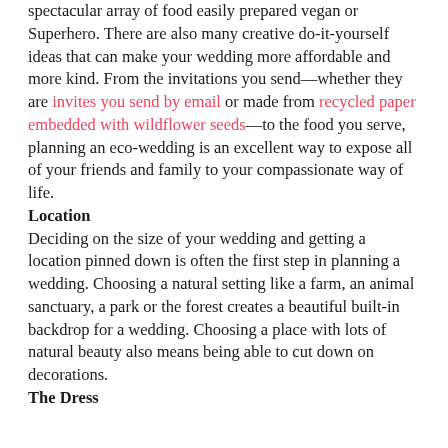spectacular array of food easily prepared vegan or Superhero. There are also many creative do-it-yourself ideas that can make your wedding more affordable and more kind. From the invitations you send—whether they are invites you send by email or made from recycled paper embedded with wildflower seeds—to the food you serve, planning an eco-wedding is an excellent way to expose all of your friends and family to your compassionate way of life.
Location
Deciding on the size of your wedding and getting a location pinned down is often the first step in planning a wedding. Choosing a natural setting like a farm, an animal sanctuary, a park or the forest creates a beautiful built-in backdrop for a wedding. Choosing a place with lots of natural beauty also means being able to cut down on decorations.
The Dress